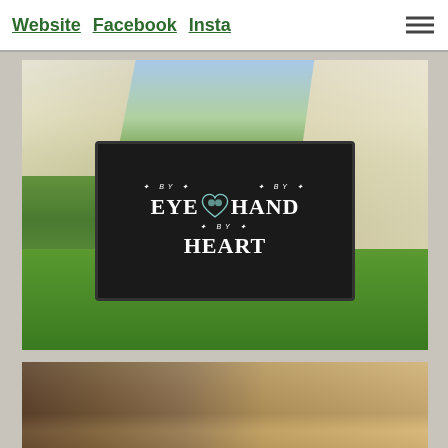Website  Facebook  Insta
[Figure (photo): Outdoor craft fair or market scene with large canvas tents in the background. In the foreground, a black chalkboard sign reads 'BY EYE BY HAND BY HEART' with decorative lettering and heart motif with hand prints. Green grass surrounds the sign which stands on wooden legs.]
[Figure (photo): Close-up photo of woodworking or craft tools laid out on a table, with a partial view of a person with blonde hair in the background. Various hand tools including chisels, mallets, and other implements are visible.]